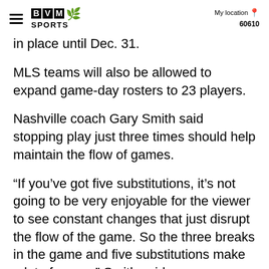BVM SPORTS | My location 60610
in place until Dec. 31.
MLS teams will also be allowed to expand game-day rosters to 23 players.
Nashville coach Gary Smith said stopping play just three times should help maintain the flow of games.
“If you’ve got five substitutions, it’s not going to be very enjoyable for the viewer to see constant changes that just disrupt the flow of the game. So the three breaks in the game and five substitutions make a lot of sense,” Smith said.